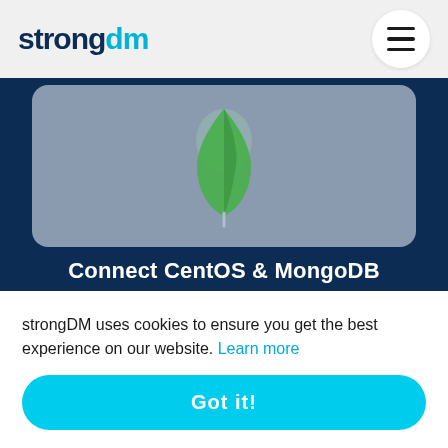[Figure (logo): strongDM logo with 'strong' in dark navy and 'dm' in cyan blue]
[Figure (illustration): Hamburger menu icon in a white circle]
[Figure (illustration): MongoDB green leaf logo on a grey-blue rounded card]
Connect CentOS & MongoDB
[Figure (illustration): MySQL dolphin logo outline on a grey-blue rounded card]
strongDM uses cookies to ensure you get the best experience on our website. Learn more
Got it!